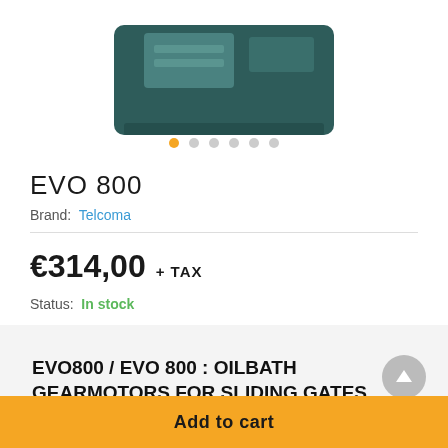[Figure (photo): Product photo of EVO 800 gearmotor device, dark teal/green colored rectangular unit, partially cropped at top]
[Figure (other): Carousel navigation dots: 6 dots, first one orange/active, rest gray]
EVO 800
Brand: Telcoma
€314,00  + TAX
Status: In stock
EVO800 / EVO 800 : OILBATH GEARMOTORS FOR SLIDING GATES
Add to cart